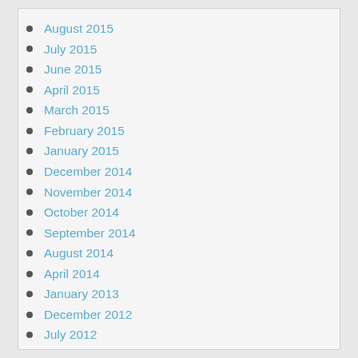August 2015
July 2015
June 2015
April 2015
March 2015
February 2015
January 2015
December 2014
November 2014
October 2014
September 2014
August 2014
April 2014
January 2013
December 2012
July 2012